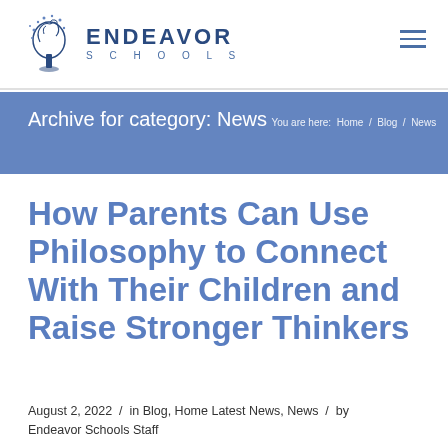[Figure (logo): Endeavor Schools logo with decorative tree and stars, with text ENDEAVOR SCHOOLS]
Archive for category: News
You are here:  Home  /  Blog  /  News
How Parents Can Use Philosophy to Connect With Their Children and Raise Stronger Thinkers
August 2, 2022  /  in Blog, Home Latest News, News  /  by Endeavor Schools Staff